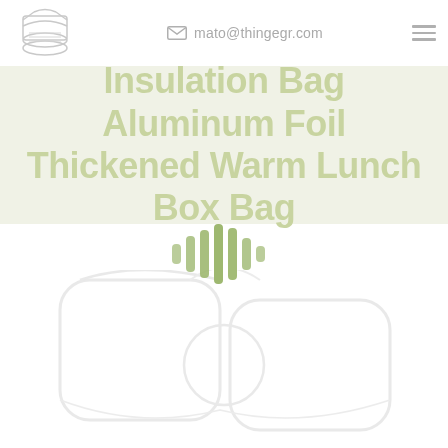mato@thingegr.com
Insulation Bag Aluminum Foil Thickened Warm Lunch Box Bag
[Figure (illustration): Sound wave / audio waveform icon made of vertical bars in olive green]
[Figure (photo): Product photo of insulation bag / lunch box bag, faded white on white background]